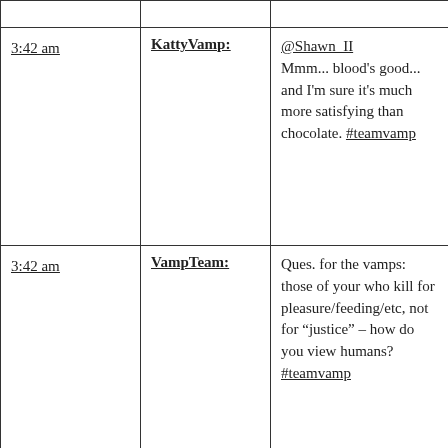| Time | User | Message |
| --- | --- | --- |
|  |  |  |
| 3:42 am | KattyVamp: | @Shawn_II Mmm... blood's good... and I'm sure it's much more satisfying than chocolate. #teamvamp |
| 3:42 am | VampTeam: | Ques. for the vamps: those of your who kill for pleasure/feeding/etc, not for “justice” – how do you view humans? #teamvamp |